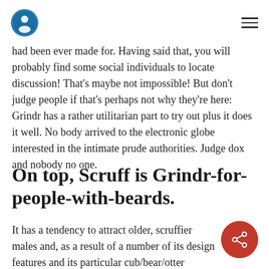[logo] [hamburger menu]
had been ever made for. Having said that, you will probably find some social individuals to locate discussion! That’s maybe not impossible! But don’t judge people if that’s perhaps not why they’re here: Grindr has a rather utilitarian part to try out plus it does it well. No body arrived to the electronic globe interested in the intimate prude authorities. Judge dox and nobody no one.
On top, Scruff is Grindr-for-people-with-beards.
It has a tendency to attract older, scruffier males and, as a result of a number of its design features and its particular cub/bear/otter demographic, has a lot more of a track record of